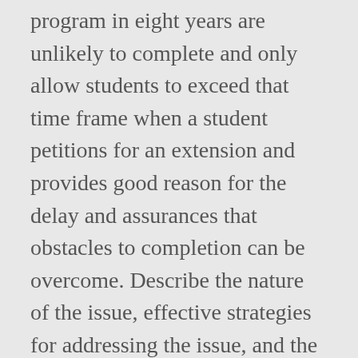program in eight years are unlikely to complete and only allow students to exceed that time frame when a student petitions for an extension and provides good reason for the delay and assurances that obstacles to completion can be overcome. Describe the nature of the issue, effective strategies for addressing the issue, and the role of an effective leader in implementing those strategies. Graduates are prepared to enter high level teaching, research or leadership posts in the field of educational policy and leadership. This required assessment course is free. Education professionals examine and analyze selected research to identify questions addressing a specific gap in the existing